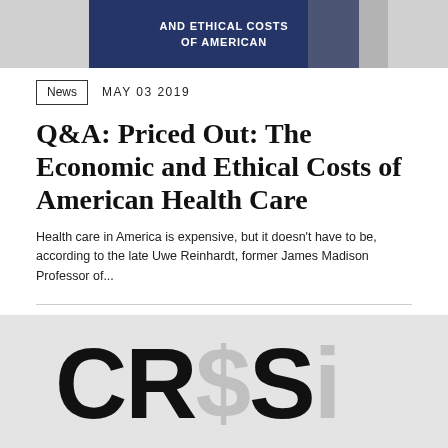[Figure (photo): Book cover image with text 'AND ETHICAL COSTS OF AMERICAN' on a dark blue background, shown against a grey background]
News   MAY 03 2019
Q&A: Priced Out: The Economic and Ethical Costs of American Health Care
Health care in America is expensive, but it doesn't have to be, according to the late Uwe Reinhardt, former James Madison Professor of...
[Figure (photo): Large bold text reading 'CRISIS' with a dollar sign superimposed in grey, on a light grey background]